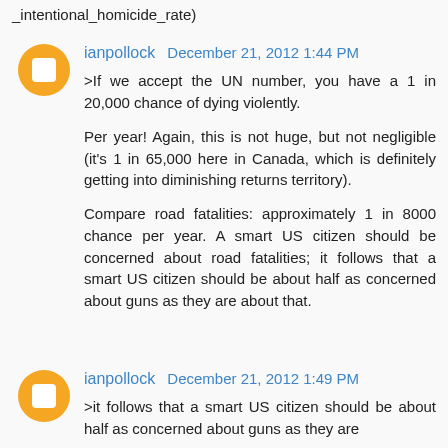_intentional_homicide_rate)
ianpollock  December 21, 2012 1:44 PM
>If we accept the UN number, you have a 1 in 20,000 chance of dying violently.

Per year! Again, this is not huge, but not negligible (it's 1 in 65,000 here in Canada, which is definitely getting into diminishing returns territory).

Compare road fatalities: approximately 1 in 8000 chance per year. A smart US citizen should be concerned about road fatalities; it follows that a smart US citizen should be about half as concerned about guns as they are about that.
ianpollock  December 21, 2012 1:49 PM
>it follows that a smart US citizen should be about half as concerned about guns as they are